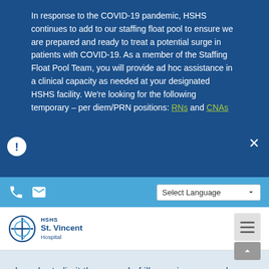In response to the COVID-19 pandemic, HSHS continues to add to our staffing float pool to ensure we are prepared and ready to treat a potential surge in patients with COVID-19. As a member of the Staffing Float Pool Team, you will provide ad hoc assistance in a clinical capacity as needed at your designated HSHS facility. We're looking for the following temporary – per diem/PRN positions: RNs and CNAs
[Figure (screenshot): Light blue toolbar with phone icon, email icon on left, and Select Language dropdown on right]
[Figure (logo): HSHS St. Vincent Hospital logo with circular icon and text]
In order to limit the spread of illness, in-person classes are cancelled until further notice. Online options are available.